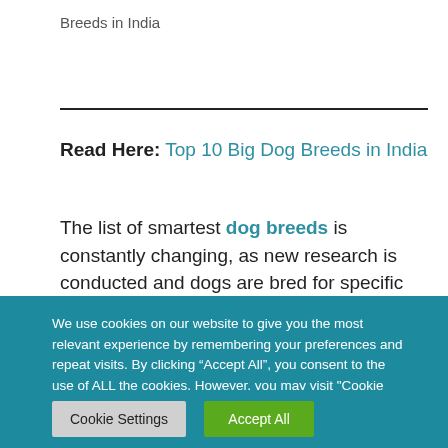Breeds in India
Read Here: Top 10 Big Dog Breeds in India
The list of smartest dog breeds is constantly changing, as new research is conducted and dogs are bred for specific purposes. But some breeds have consistently ranked as being
We use cookies on our website to give you the most relevant experience by remembering your preferences and repeat visits. By clicking “Accept All”, you consent to the use of ALL the cookies. However, you may visit "Cookie Settings" to provide a controlled consent.
Cookie Settings | Accept All